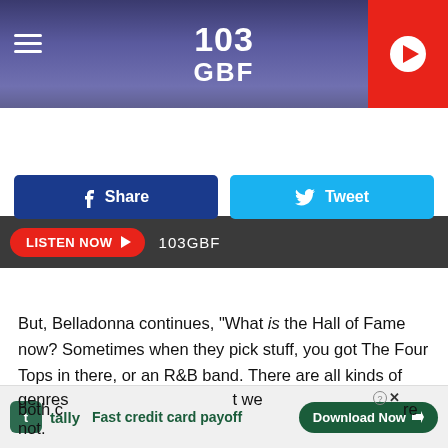[Figure (screenshot): 103 GBF radio station header banner with hamburger menu, station logo, and red play button]
LISTEN NOW ▶  103GBF
[Figure (infographic): Facebook Share button and Twitter Tweet button social sharing row]
But, Belladonna continues, "What is the Hall of Fame now? Sometimes when they pick stuff, you got The Four Tops in there, or an R&B band. There are all kinds of different genres t we both c re not.
[Figure (screenshot): Tally app advertisement: Fast credit card payoff with Download Now button and close X button]